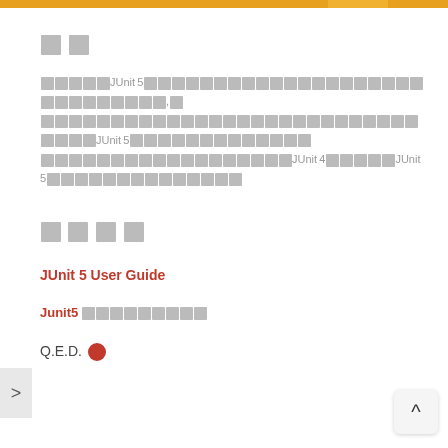[orange top bar]
□□
□□□□□JUnit5□□□□□□□□□□□□□□□□□□□□□□□□□□□□□□□□,□□□□□□□□□□□□□□□□□□□□□□□□□□□□□□□JUnit5□□□□□□□□□□□□□□□□□□□□□□□□JUnit4□□□□□□JUnit5□□□□□□□□□□□□□□
□□□□
JUnit 5 User Guide
Junit5 □□□□□□□□□
Q.E.D.